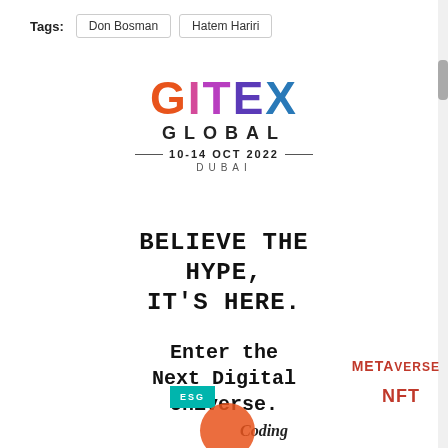Tags: Don Bosman  Hatem Hariri
[Figure (logo): GITEX GLOBAL logo with colorful lettering, tagline '10-14 OCT 2022 DUBAI']
BELIEVE THE HYPE, IT'S HERE.
Enter the Next Digital Universe.
[Figure (infographic): Colorful collage with tech keywords: METAVERSE, ESG, NFT, Coding, with teal and red graphic elements]